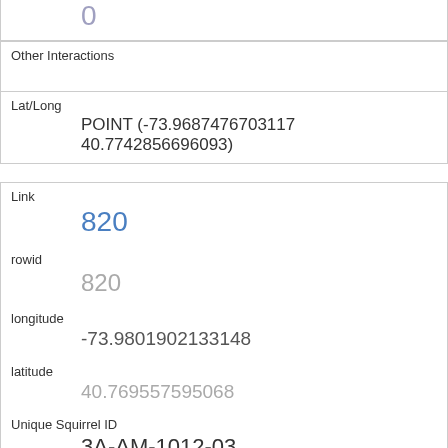| Other Interactions |  |
| Lat/Long | POINT (-73.9687476703117 40.7742856696093) |
| Link | 820 |
| rowid | 820 |
| longitude | -73.9801902133148 |
| latitude | 40.769557595068 |
| Unique Squirrel ID | 3A-AM-1012-03 |
| Hectare | 03A |
| Shift | AM |
| Date |  |